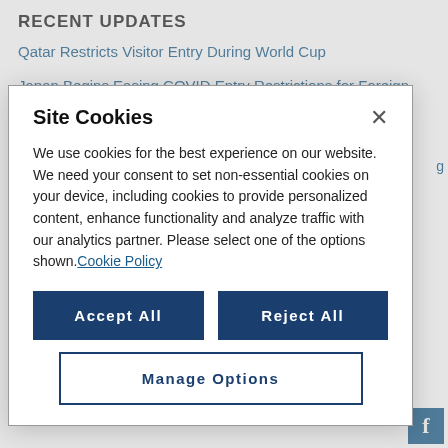RECENT UPDATES
Qatar Restricts Visitor Entry During World Cup
Japan Begins Easing COVID Entry Restrictions for Foreign Nationals
Costa Rica Launches New “Digital Nomad” Visa
Site Cookies
We use cookies for the best experience on our website. We need your consent to set non-essential cookies on your device, including cookies to provide personalized content, enhance functionality and analyze traffic with our analytics partner. Please select one of the options shown. Cookie Policy